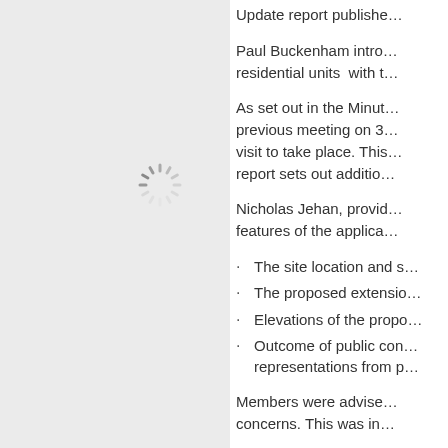[Figure (other): Loading spinner icon on grey background left panel]
Update report publishe...
Paul Buckenham intro... residential units  with t...
As set out in the Minut... previous meeting on 3... visit to take place. This... report sets out additio...
Nicholas Jehan, provid... features of the applica...
The site location and s...
The proposed extensio...
Elevations of the propo...
Outcome of public con... representations from p...
Members were advise... concerns. This was in...